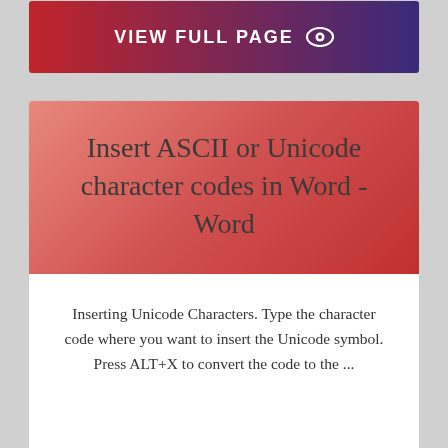[Figure (screenshot): Top partial card with gradient banner showing VIEW FULL PAGE with eye icon]
Insert ASCII or Unicode character codes in Word - Word
Inserting Unicode Characters. Type the character code where you want to insert the Unicode symbol. Press ALT+X to convert the code to the ...
[Figure (screenshot): Bottom gradient banner showing VIEW FULL PAGE with eye icon]